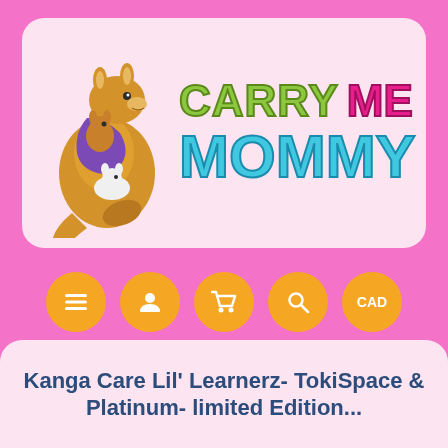[Figure (logo): Carry Me Mommy logo: cartoon kangaroo with baby in purple carrier on back, next to colorful text 'CARRY ME MOMMY' in green, pink, and blue bubble letters on a pale pink rounded card]
[Figure (infographic): Navigation bar with 5 orange circular buttons: hamburger menu, user/account, shopping cart, search/magnifier, and CAD currency selector]
Kanga Care Lil' Learnerz- TokiSpace & Platinum- limited Edition...